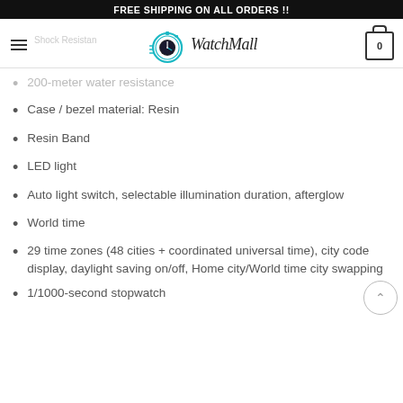FREE SHIPPING ON ALL ORDERS !!
[Figure (logo): WatchMall logo with stopwatch icon and stylized text]
200-meter water resistance
Case / bezel material: Resin
Resin Band
LED light
Auto light switch, selectable illumination duration, afterglow
World time
29 time zones (48 cities + coordinated universal time), city code display, daylight saving on/off, Home city/World time city swapping
1/1000-second stopwatch